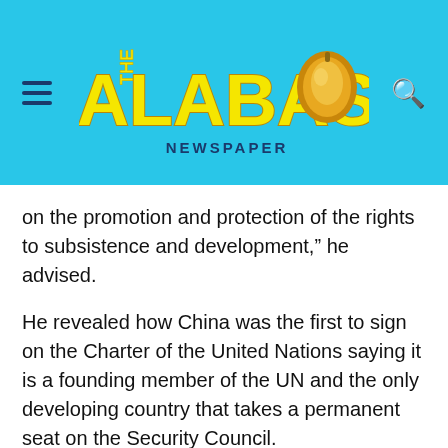[Figure (logo): The Calabash Newspaper logo on a cyan/light blue header bar with hamburger menu icon on the left and search icon on the right]
on the promotion and protection of the rights to subsistence and development," he advised.
He revealed how China was the first to sign on the Charter of the United Nations saying it is a founding member of the UN and the only developing country that takes a permanent seat on the Security Council.
“China will continue to be a true follower of multilateralism. It will stay actively engaged in reforming and developing the global governance system. It will firmly uphold the UN-centered international system, firmly uphold the international order underpinned by international law, and